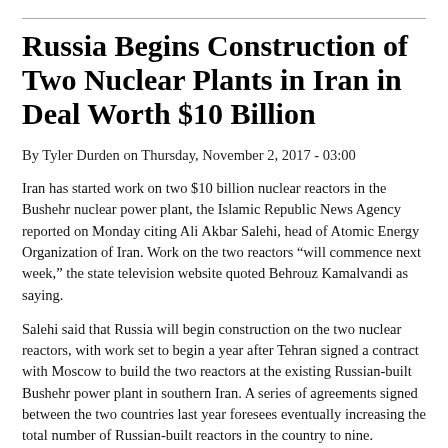Russia Begins Construction of Two Nuclear Plants in Iran in Deal Worth $10 Billion
By Tyler Durden on Thursday, November 2, 2017 - 03:00
Iran has started work on two $10 billion nuclear reactors in the Bushehr nuclear power plant, the Islamic Republic News Agency reported on Monday citing Ali Akbar Salehi, head of Atomic Energy Organization of Iran. Work on the two reactors “will commence next week,” the state television website quoted Behrouz Kamalvandi as saying.
Salehi said that Russia will begin construction on the two nuclear reactors, with work set to begin a year after Tehran signed a contract with Moscow to build the two reactors at the existing Russian-built Bushehr power plant in southern Iran. A series of agreements signed between the two countries last year foresees eventually increasing the total number of Russian-built reactors in the country to nine.